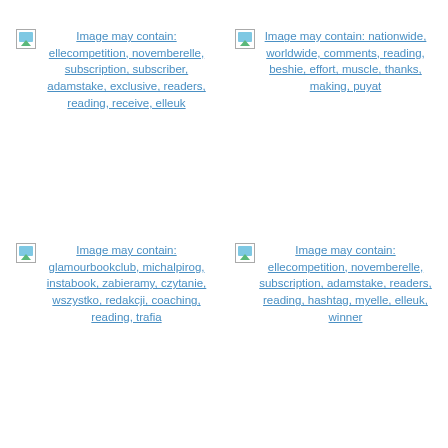[Figure (other): Broken image placeholder with alt text: Image may contain: ellecompetition, novemberelle, subscription, subscriber, adamstake, exclusive, readers, reading, receive, elleuk]
[Figure (other): Broken image placeholder with alt text: Image may contain: nationwide, worldwide, comments, reading, beshie, effort, muscle, thanks, making, puyat]
[Figure (other): Broken image placeholder with alt text: Image may contain: glamourbookclub, michalpirog, instabook, zabieramy, czytanie, wszystko, redakcji, coaching, reading, trafia]
[Figure (other): Broken image placeholder with alt text: Image may contain: ellecompetition, novemberelle, subscription, adamstake, readers, reading, hashtag, myelle, elleuk, winner]